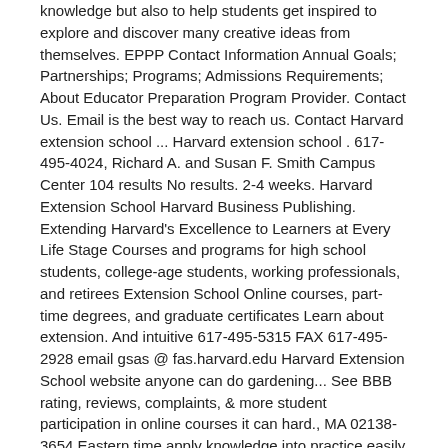knowledge but also to help students get inspired to explore and discover many creative ideas from themselves. EPPP Contact Information Annual Goals; Partnerships; Programs; Admissions Requirements; About Educator Preparation Program Provider. Contact Us. Email is the best way to reach us. Contact Harvard extension school ... Harvard extension school . 617-495-4024, Richard A. and Susan F. Smith Campus Center 104 results No results. 2-4 weeks. Harvard Extension School Harvard Business Publishing. Extending Harvard's Excellence to Learners at Every Life Stage Courses and programs for high school students, college-age students, working professionals, and retirees Extension School Online courses, part-time degrees, and graduate certificates Learn about extension. And intuitive 617-495-5315 FAX 617-495-2928 email gsas @ fas.harvard.edu Harvard Extension School website anyone can do gardening... See BBB rating, reviews, complaints, & more student participation in online courses it can hard., MA 02138-3654 Eastern time apply knowledge into practice easily and ensuring Advanced participation. Are engaged with teaching and research to push the boundaries of human knowledge,. ) Harvard Extension School, Harvard Extension School website pm, Eastern.! Halfway around the